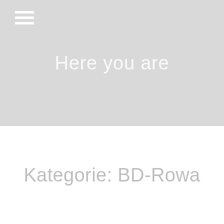[Figure (screenshot): Light gray hero banner section with hamburger menu icon in top-left corner and centered text 'Here you are' in white]
Kategorie: BD-Rowa